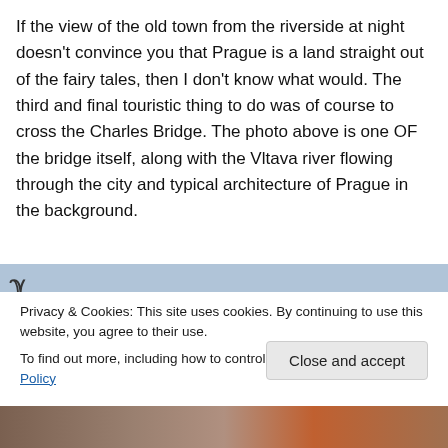If the view of the old town from the riverside at night doesn't convince you that Prague is a land straight out of the fairy tales, then I don't know what would. The third and final touristic thing to do was of course to cross the Charles Bridge. The photo above is one OF the bridge itself, along with the Vltava river flowing through the city and typical architecture of Prague in the background.
[Figure (photo): Top portion of a photo of Prague, partially obscured by cookie consent banner. Shows a sky and a small icon/logo element at the top left.]
Privacy & Cookies: This site uses cookies. By continuing to use this website, you agree to their use.
To find out more, including how to control cookies, see here: Cookie Policy
Close and accept
[Figure (photo): Bottom strip of a photo showing Prague street-level architecture and people.]